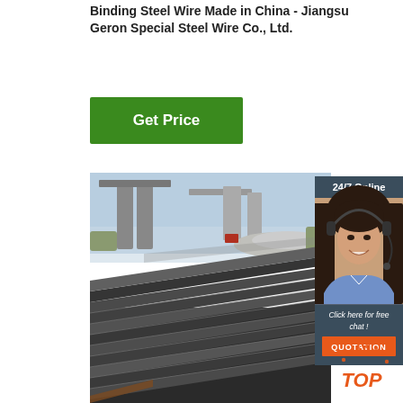Binding Steel Wire Made in China - Jiangsu Geron Special Steel Wire Co., Ltd.
[Figure (other): Green 'Get Price' button]
[Figure (photo): Stack of flat steel plates/sheets outdoors with overpass/bridge in background and construction materials pile visible]
[Figure (photo): Customer service representative woman with headset smiling, with '24/7 Online' header, 'Click here for free chat!' text, and orange 'QUOTATION' button]
[Figure (logo): Orange 'TOP' badge with dotted arc above it in bottom right corner]